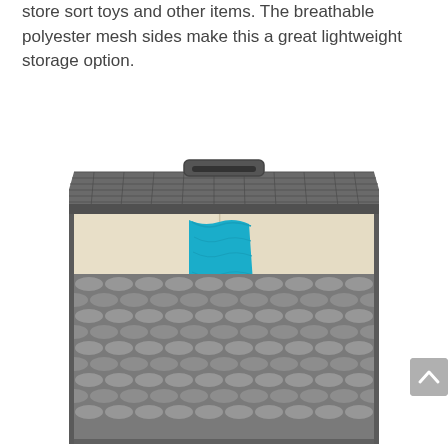store sort toys and other items. The breathable polyester mesh sides make this a great lightweight storage option.
[Figure (photo): A gray wicker/rattan laundry hamper with a lid propped open at the top. The lid has handles. Inside the hamper there is a beige fabric liner divided into sections, and a teal/turquoise towel is draped over the front divider. The hamper body is woven in a gray synthetic rattan pattern.]